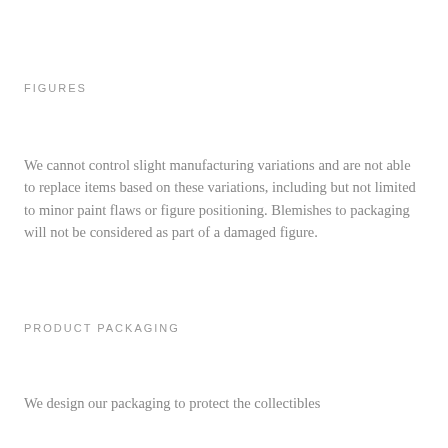FIGURES
We cannot control slight manufacturing variations and are not able to replace items based on these variations, including but not limited to minor paint flaws or figure positioning. Blemishes to packaging will not be considered as part of a damaged figure.
PRODUCT PACKAGING
We design our packaging to protect the collectibles